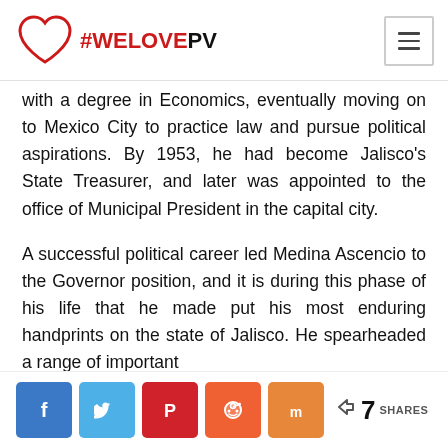#WELOVEPV
with a degree in Economics, eventually moving on to Mexico City to practice law and pursue political aspirations. By 1953, he had become Jalisco's State Treasurer, and later was appointed to the office of Municipal President in the capital city.
A successful political career led Medina Ascencio to the Governor position, and it is during this phase of his life that he made put his most enduring handprints on the state of Jalisco. He spearheaded a range of important